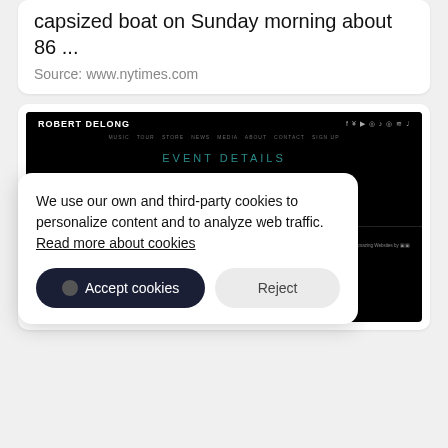capsized boat on Sunday morning about 86 ...
Source: www.nytimes.com
[Figure (screenshot): Screenshot of Robert DeLong website showing EVENT DETAILS page with dark/black background, navigation menu, social media icons, and a cookie consent overlay dialog with Accept cookies and Reject buttons.]
We use our own and third-party cookies to personalize content and to analyze web traffic. Read more about cookies
Accept cookies
Reject